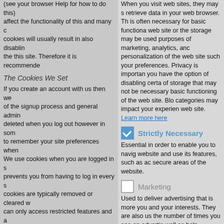(see your browser Help for how to do this) affect the functionality of this and many c cookies will usually result in also disablin the this site. Therefore it is recommende
The Cookies We Set
If you create an account with us then we of the signup process and general admin deleted when you log out however in som to remember your site preferences when We use cookies when you are logged in s prevents you from having to log in every s cookies are typically removed or cleared w can only access restricted features and a
This site offers e-commerce or payment f essential to ensure that your order is rem can process it properly.
| Cookie Name | Category |
| --- | --- |
| ipcp.jsCookieCheck | Strictly Mandatory |
When you visit web sites, they may s retrieve data in your web browser. Th is often necessary for basic functiona web site or the storage may be used purposes of marketing, analytics, anc personalization of the web site such your preferences. Privacy is importan you have the option of disabling certa of storage that may not be necessary basic functioning of the web site. Blo categories may impact your experien web site. Learn more here
Strictly Necessary
Essential in order to enable you to navig website and use its features, such as ac secure areas of the website.
Marketing
Used to deliver advertising that is more you and your interests. They are also us the number of times you see an advertis well as help measure the effectiveness o advertising campaign. They are usually p advertising networks with the website or permission.